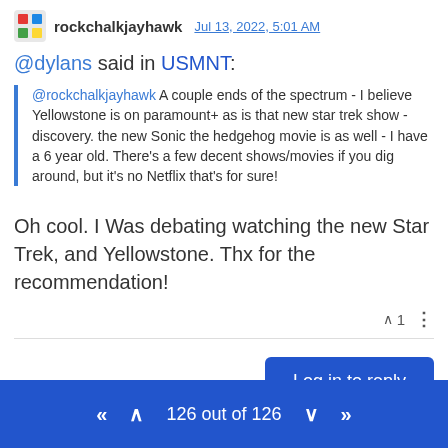rockchalkjayhawk  Jul 13, 2022, 5:01 AM
@dylans said in USMNT:
@rockchalkjayhawk A couple ends of the spectrum - I believe Yellowstone is on paramount+ as is that new star trek show - discovery. the new Sonic the hedgehog movie is as well - I have a 6 year old. There’s a few decent shows/movies if you dig around, but it’s no Netflix that’s for sure!
Oh cool. I Was debating watching the new Star Trek, and Yellowstone. Thx for the recommendation!
1
Log in to reply
126 out of 126